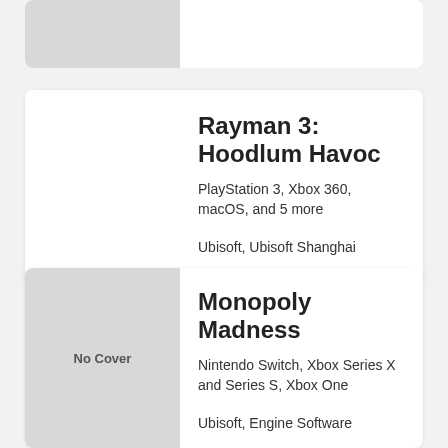[Figure (other): Partial card at top of page with grey cover image placeholder (cropped)]
Rayman 3: Hoodlum Havoc
PlayStation 3, Xbox 360, macOS, and 5 more
Ubisoft, Ubisoft Shanghai
Monopoly Madness
Nintendo Switch, Xbox Series X and Series S, Xbox One
Ubisoft, Engine Software